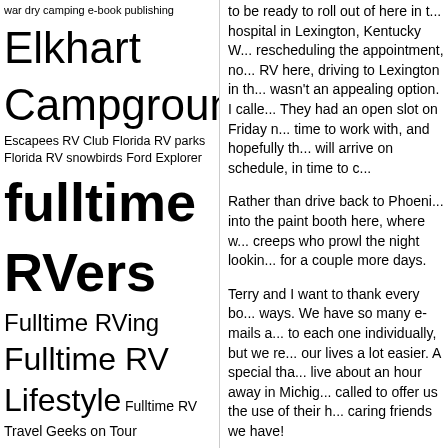Tag cloud with RV travel blog tags including: war dry camping e-book publishing, Elkhart Campground, Escapees RV Club, Florida RV parks, Florida RV snowbirds, Ford Explorer, fulltime RVers, Fulltime RVing, Fulltime RV Lifestyle, Fulltime RV Travel, Geeks on Tour, Gypsy Journal, Gypsy Journal Rally, Gypsy Journal RV Travel Newspaper, John Lee Quarrels mystery series, MCI Bus Conversion, motorhome, RV, RV Blog, RV camping journal, RV dump station, RVers, RV Lifestyle, RV Park, RV parks, RV Rallies, rv rally, RV Repairs, RV site, RV Snowbirds, RV Travels
to be ready to roll out of here in t... hospital in Lexington, Kentucky W... rescheduling the appointment, no... RV here, driving to Lexington in th... wasn't an appealing option. I calle... They had an open slot on Friday n... time to work with, and hopefully th... will arrive on schedule, in time to c...
Rather than drive back to Phoeni... into the paint booth here, where w... creeps who prowl the night lookin... for a couple more days.
Terry and I want to thank every bo... ways. We have so many e-mails a... to each one individually, but we re... our lives a lot easier. A special tha... live about an hour away in Michig... called to offer us the use of their h... caring friends we have!